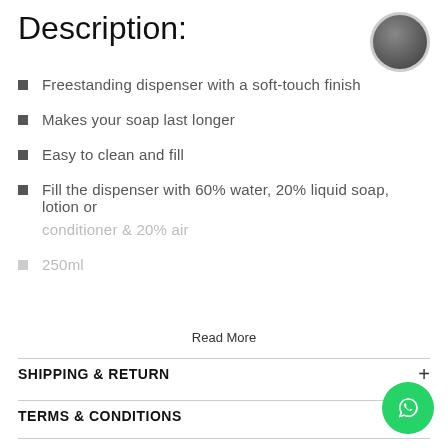Description:
[Figure (other): Dark gray circular color swatch]
Freestanding dispenser with a soft-touch finish
Makes your soap last longer
Easy to clean and fill
Fill the dispenser with 60% water, 20% liquid soap, lotion or conditioner & 20% air
250ml
Read More
SHIPPING & RETURN
TERMS & CONDITIONS
[Figure (logo): WhatsApp floating button icon (green circle with white phone/chat icon)]